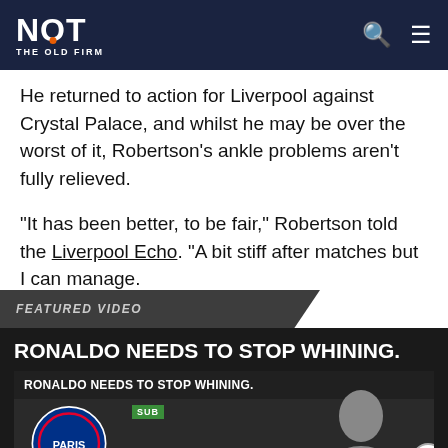NOT THE OLD FIRM
He returned to action for Liverpool against Crystal Palace, and whilst he may be over the worst of it, Robertson’s ankle problems aren’t fully relieved.
“It has been better, to be fair,” Robertson told the Liverpool Echo. “A bit stiff after matches but I can manage.
[Figure (screenshot): Featured video section with dark background showing 'RONALDO NEEDS TO STOP WHINING.' headline, a video thumbnail with PSG logo and a player's face, and a close button.]